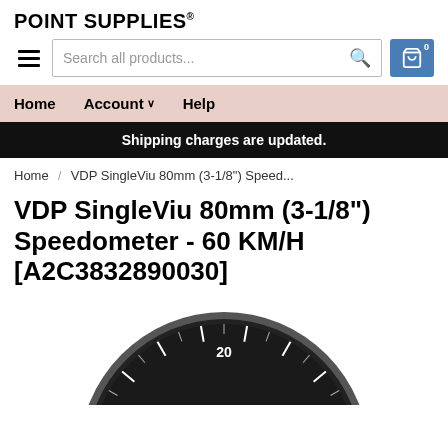POINT SUPPLIES®
[Figure (screenshot): Search bar with hamburger menu icon on left and shopping cart icon on right]
Home  Account  Help
Shipping charges are updated.
Home / VDP SingleViu 80mm (3-1/8") Speed...
VDP SingleViu 80mm (3-1/8") Speedometer - 60 KM/H [A2C3832890030]
[Figure (photo): Partial view of a VDP SingleViu 80mm speedometer gauge with dark face and metal bezel, showing the top portion with tick marks and the number 20 visible]